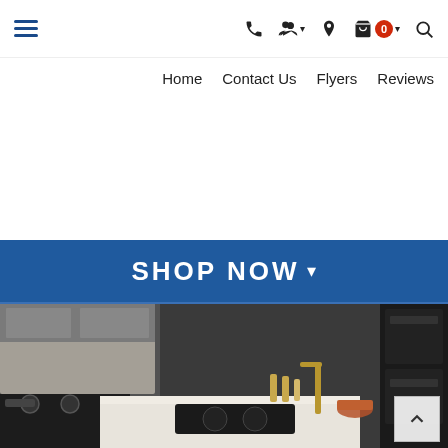Navigation bar with hamburger menu, phone, user, location, cart (0), search icons
Home  Contact Us  Flyers  Reviews
[Figure (screenshot): SHOP NOW dropdown banner in blue]
[Figure (photo): Modern dark kitchen with black appliances, marble island countertop, gold fixtures, and back-to-top button overlay]